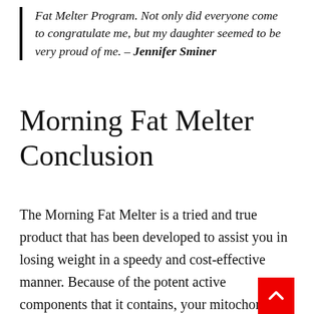Fat Melter Program. Not only did everyone come to congratulate me, but my daughter seemed to be very proud of me. – Jennifer Sminer
Morning Fat Melter Conclusion
The Morning Fat Melter is a tried and true product that has been developed to assist you in losing weight in a speedy and cost-effective manner. Because of the potent active components that it contains, your mitochondria will be brought back to life and given the ability to produce energy and burn fat in the same manner that they did when you were younger.